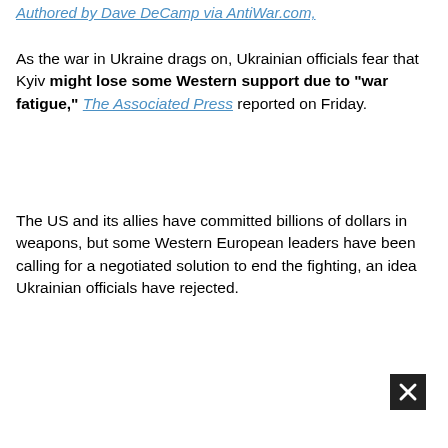Authored by Dave DeCamp via AntiWar.com,
As the war in Ukraine drags on, Ukrainian officials fear that Kyiv might lose some Western support due to "war fatigue," The Associated Press reported on Friday.
The US and its allies have committed billions of dollars in weapons, but some Western European leaders have been calling for a negotiated solution to end the fighting, an idea Ukrainian officials have rejected.